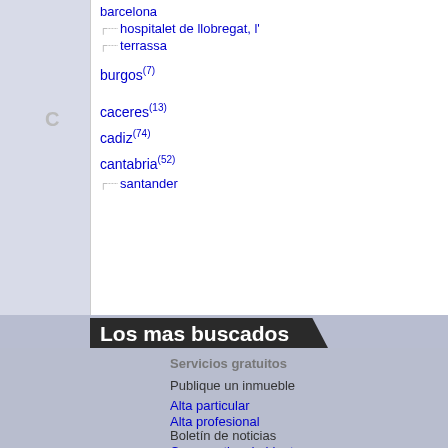barcelona
hospitalet de llobregat, l'
terrassa
burgos(7)
caceres(13)
cadiz(74)
cantabria(52)
santander
Los mas buscados
comprar en madrid alc...
Servicios gratuitos
Softw...
Publique un inmueble
Alta particular
Alta profesional
Boletín de noticias
Comparativa de hipotecas
pisone...
Calcu...
Herra...